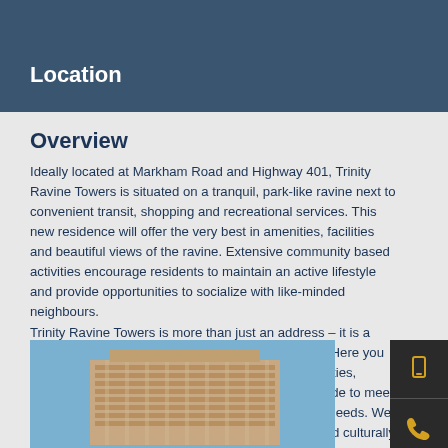Location
Overview
Ideally located at Markham Road and Highway 401, Trinity Ravine Towers is situated on a tranquil, park-like ravine next to convenient transit, shopping and recreational services. This new residence will offer the very best in amenities, facilities and beautiful views of the ravine. Extensive community based activities encourage residents to maintain an active lifestyle and provide opportunities to socialize with like-minded neighbours.
Trinity Ravine Towers is more than just an address – it is a community designed for you to live life to its fullest. Here you will able to take advantage of the exceptional amenities, spacious sui and quality standard features tailor-made to meet your social, spiritual, recreational and future health needs. We intend to help seniors to age well within a faith-based culturally diverse commun
[Figure (photo): Exterior photograph of Trinity Ravine Towers building against blue sky]